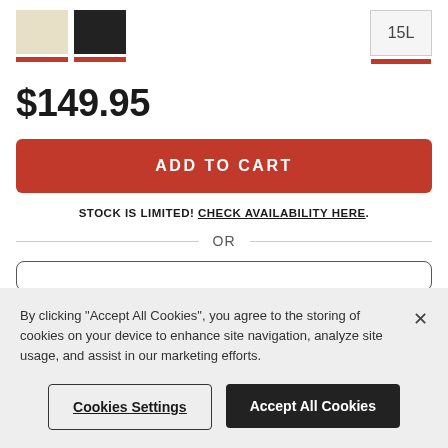[Figure (screenshot): Two color swatches (beige and black) with red underline bars, and a size selector showing '15L' with a red underline bar]
$149.95
ADD TO CART
STOCK IS LIMITED! CHECK AVAILABILITY HERE.
OR
By clicking “Accept All Cookies”, you agree to the storing of cookies on your device to enhance site navigation, analyze site usage, and assist in our marketing efforts.
Cookies Settings
Accept All Cookies